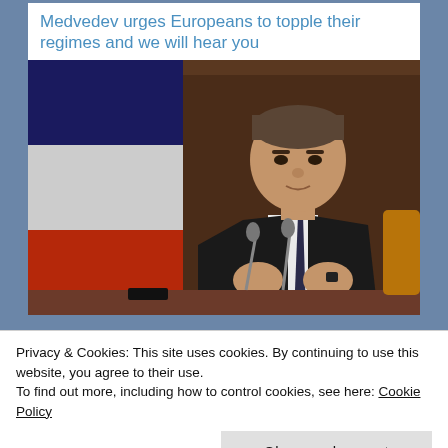Medvedev urges Europeans to topple their regimes and we will hear you
[Figure (photo): Photo of Dmitry Medvedev in a black suit seated at a table with microphones, with a Russian flag visible in the background]
Privacy & Cookies: This site uses cookies. By continuing to use this website, you agree to their use.
To find out more, including how to control cookies, see here: Cookie Policy
Close and accept